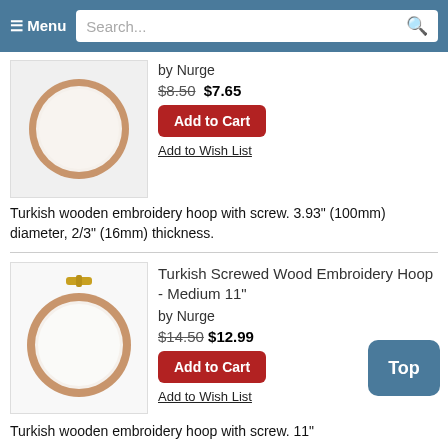≡ Menu  Search...
[Figure (photo): Turkish wooden embroidery hoop (small), circular wooden hoop with no screw visible, shown on light gray background]
by Nurge
$8.50  $7.65
Add to Cart
Add to Wish List
Turkish wooden embroidery hoop with screw. 3.93" (100mm) diameter, 2/3" (16mm) thickness.
[Figure (photo): Turkish wooden embroidery hoop (medium 11"), circular wooden hoop with gold screw clasp at top, shown on white background]
Turkish Screwed Wood Embroidery Hoop - Medium 11"
by Nurge
$14.50  $12.99
Add to Cart
Add to Wish List
Turkish wooden embroidery hoop with screw. 11"